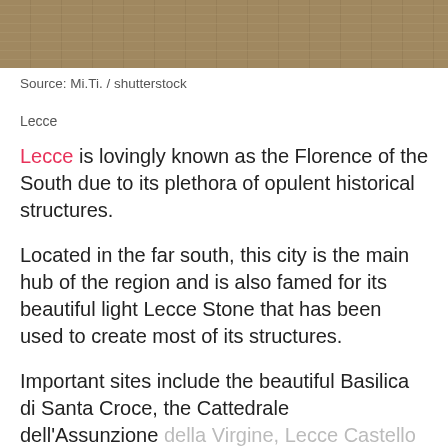[Figure (photo): Partial view of an ancient Roman amphitheatre or theatre with stone seating rows, taken from above.]
Source: Mi.Ti. / shutterstock
Lecce
Lecce is lovingly known as the Florence of the South due to its plethora of opulent historical structures.
Located in the far south, this city is the main hub of the region and is also famed for its beautiful light Lecce Stone that has been used to create most of its structures.
Important sites include the beautiful Basilica di Santa Croce, the Cattedrale dell’Assunzione della Virgine, Lecce Castello and the ancient Roman Amphitheatre.